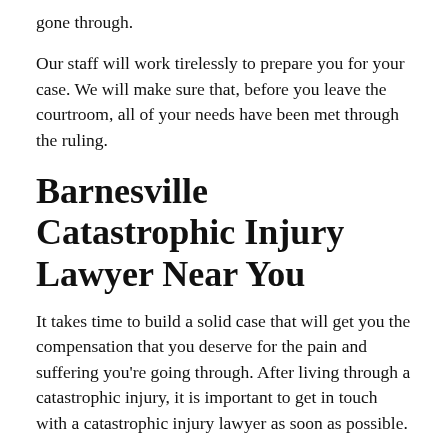gone through.
Our staff will work tirelessly to prepare you for your case. We will make sure that, before you leave the courtroom, all of your needs have been met through the ruling.
Barnesville Catastrophic Injury Lawyer Near You
It takes time to build a solid case that will get you the compensation that you deserve for the pain and suffering you're going through. After living through a catastrophic injury, it is important to get in touch with a catastrophic injury lawyer as soon as possible.
Contact the Mabra Firm today for the best experience from a catastrophic injury lawyer in Barnesville who knows what they are doing. We specialize in cases like yours and we will fight for you every step of the way.